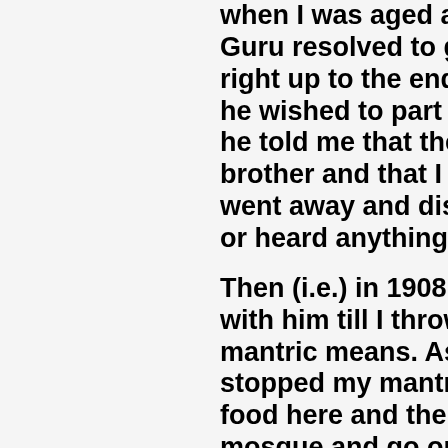when I was aged about twen Guru resolved to go away fro right up to the end of his life he wished to part company w he told me that there was on brother and that I should go went away and disappeared or heard anything more of hi Then (i.e.) in 1908, I went to S with him till I throw away my mantric means. As his order stopped my mantric product food here and there at Shirdi mosque and go on reading D sleep in any place I could fin upadesa mantra etc. The tow Only the villagers would go